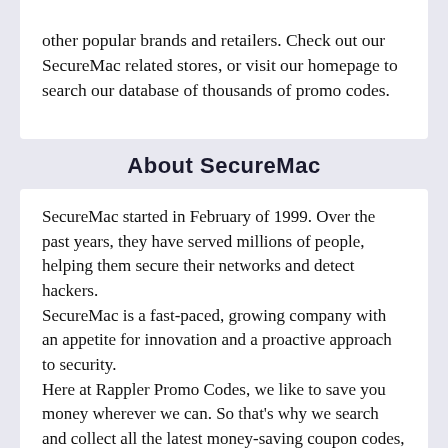other popular brands and retailers. Check out our SecureMac related stores, or visit our homepage to search our database of thousands of promo codes.
About SecureMac
SecureMac started in February of 1999. Over the past years, they have served millions of people, helping them secure their networks and detect hackers.
SecureMac is a fast-paced, growing company with an appetite for innovation and a proactive approach to security.
Here at Rappler Promo Codes, we like to save you money wherever we can. So that's why we search and collect all the latest money-saving coupon codes, promotional codes, promo codes and deals for SecureMac we can find.